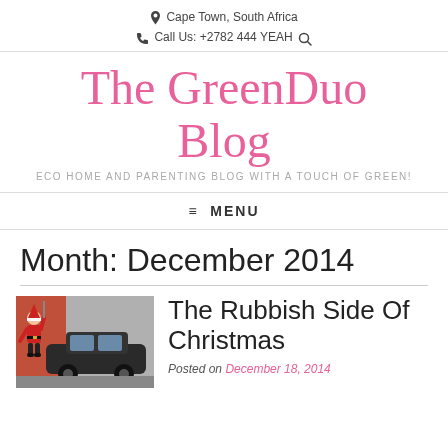Cape Town, South Africa
Call Us: +2782 444 YEAH
The GreenDuo Blog
ECO HOME AND PARENTING BLOG WITH A TOUCH OF GREEN!
≡ MENU
Month: December 2014
[Figure (photo): A Santa Claus figure climbing a wall next to a dark car on a street]
The Rubbish Side Of Christmas
Posted on December 18, 2014